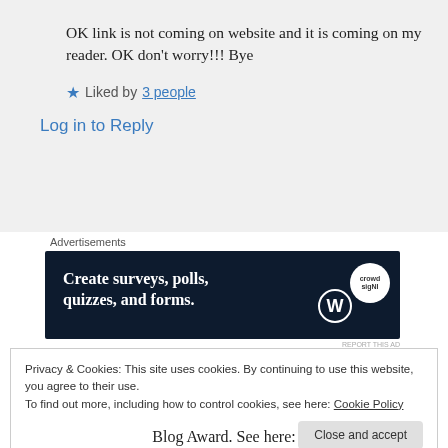OK link is not coming on website and it is coming on my reader. OK don't worry!!! Bye
★ Liked by 3 people
Log in to Reply
Advertisements
[Figure (other): Advertisement banner with dark navy background reading 'Create surveys, polls, quizzes, and forms.' with WordPress and Crowdsignal logos]
REPORT THIS AD
Privacy & Cookies: This site uses cookies. By continuing to use this website, you agree to their use.
To find out more, including how to control cookies, see here: Cookie Policy
Close and accept
Blog Award. See here: